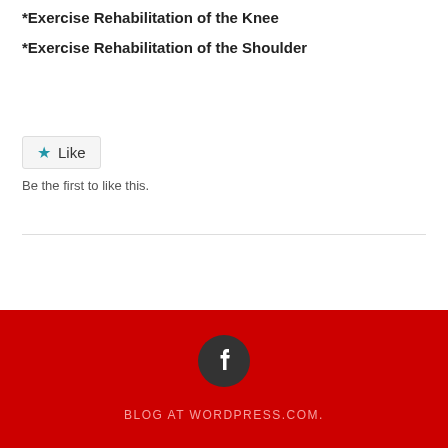*Exercise Rehabilitation of the Knee
*Exercise Rehabilitation of the Shoulder
[Figure (other): Like button widget with blue star icon and 'Like' label]
Be the first to like this.
BLOG AT WORDPRESS.COM.